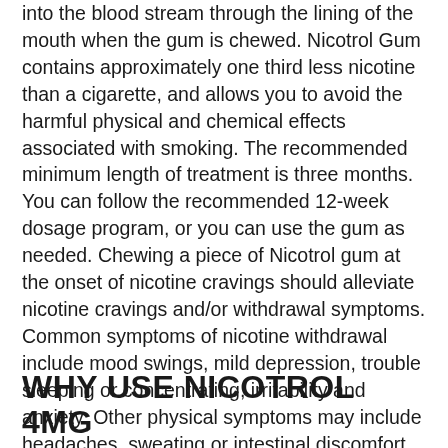into the blood stream through the lining of the mouth when the gum is chewed. Nicotrol Gum contains approximately one third less nicotine than a cigarette, and allows you to avoid the harmful physical and chemical effects associated with smoking. The recommended minimum length of treatment is three months. You can follow the recommended 12-week dosage program, or you can use the gum as needed. Chewing a piece of Nicotrol gum at the onset of nicotine cravings should alleviate nicotine cravings and/or withdrawal symptoms. Common symptoms of nicotine withdrawal include mood swings, mild depression, trouble sleeping or concentrating, irritability and anxiety. Other physical symptoms may include headaches, sweating or intestinal discomfort. Each box contains 105 pieces of gum.
WHY USE NICOTROL 4MG